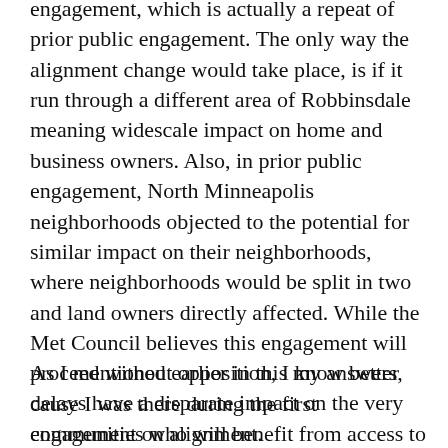engagement, which is actually a repeat of prior public engagement. The only way the alignment change would take place, is if it run through a different area of Robbinsdale meaning widescale impact on home and business owners. Also, in prior public engagement, North Minneapolis neighborhoods objected to the potential for similar impact on their neighborhoods, where neighborhoods would be split in two and land owners directly affected. While the Met Council believes this engagement will proceed without opposition, I know better cause I was there during the first engagement on alignment.
As I mentioned earlier in this my answers, delays have a disparate impact on the very communities who will benefit from access to affordable